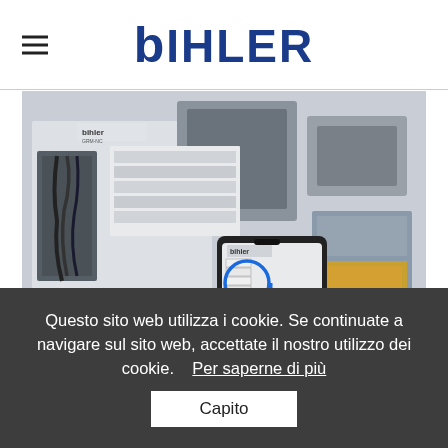BIHLER
[Figure (photo): Industrial machine with electrical components and control panel. A hand holds a smartphone displaying an AR overlay with a blue circle and arrow highlighting a component on the machine.]
Questo sito web utilizza i cookie. Se continuate a navigare sul sito web, accettate il nostro utilizzo dei cookie.   Per saperne di più
Capito